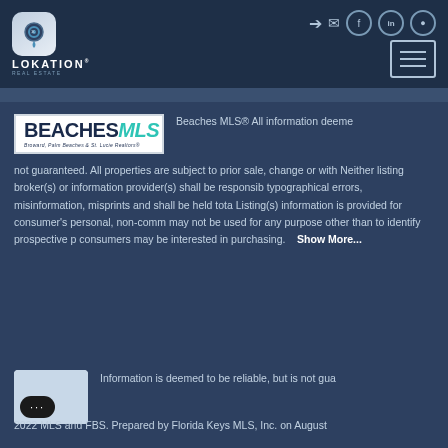[Figure (logo): Lokation Real Estate logo with location pin icon and text]
[Figure (logo): Beaches MLS logo - Broward, Palm Beaches & St. Lucie Realtors]
Beaches MLS® All information deemed not guaranteed. All properties are subject to prior sale, change or with. Neither listing broker(s) or information provider(s) shall be responsible for typographical errors, misinformation, misprints and shall be held totally harmless. Listing(s) information is provided for consumer's personal, non-commercial use and may not be used for any purpose other than to identify prospective properties consumers may be interested in purchasing.
Show More...
Information is deemed to be reliable, but is not guaranteed.
2022 MLS and FBS. Prepared by Florida Keys MLS, Inc. on August